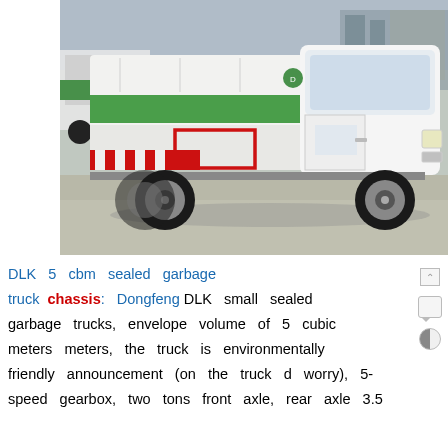[Figure (photo): A white and green Dongfeng DLK sealed garbage truck parked on a concrete surface. The truck has a white cab on the right, a white tank body with a green horizontal stripe, and a red rectangular bracket marking on the lower side of the tank. Two large black wheels are visible. A second truck is partially visible in the background on the left.]
DLK 5 cbm sealed garbage truck chassis: Dongfeng DLK small sealed garbage trucks, envelope volume of 5 cubic meters meters, the truck is environmentally friendly announcement (on the truck d worry), 5-speed gearbox, two tons front axle, rear axle 3.5